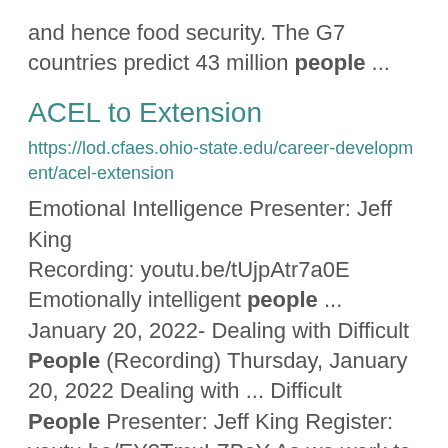and hence food security. The G7 countries predict 43 million people ...
ACEL to Extension
https://lod.cfaes.ohio-state.edu/career-development/acel-extension
Emotional Intelligence Presenter: Jeff King Recording: youtu.be/tUjpAtr7a0E Emotionally intelligent people ...  January 20, 2022- Dealing with Difficult People (Recording) Thursday, January 20, 2022 Dealing with ... Difficult People Presenter: Jeff King Register: youtu.be/EY2TmuLZBsY As we work to fulfill the Extension ...